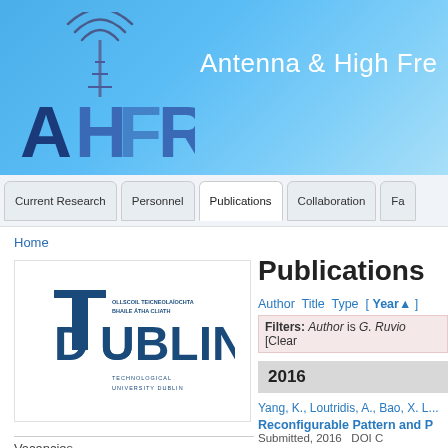[Figure (logo): AHFR Antenna and High Frequency Research group logo with tower graphic]
Antenna & High Fre...
Navigation bar: Current Research | Personnel | Publications | Collaboration | Fa...
Home
[Figure (logo): TU Dublin - Technological University Dublin logo]
Publications
Author Title Type [ Year▲ ]
Filters: Author is G. Ruvio [Clear...
2016
Yang, K., Loutridis, A., Bao, X. L...
Reconfigurable Pattern and P...
Vacancies